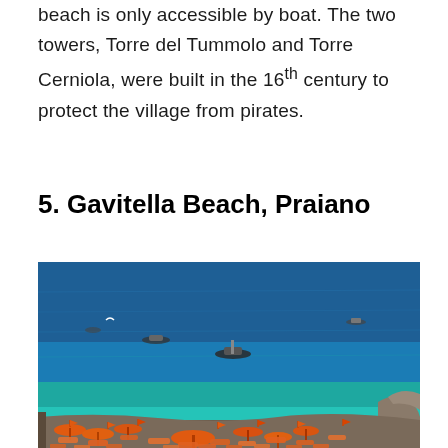beach is only accessible by boat. The two towers, Torre del Tummolo and Torre Cerniola, were built in the 16th century to protect the village from pirates.
5. Gavitella Beach, Praiano
[Figure (photo): Aerial view of Gavitella Beach in Praiano showing deep blue Mediterranean sea with several small boats floating on the water, and in the lower portion a beach club with rows of orange sun loungers and orange umbrellas on a rocky terrace.]